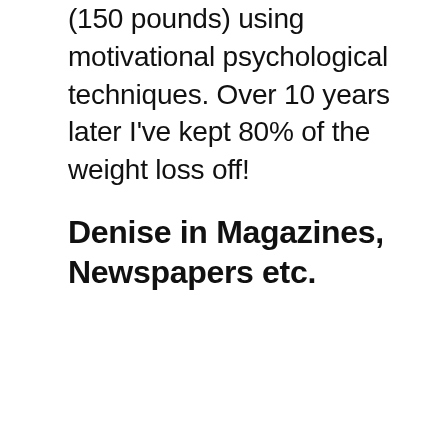(150 pounds) using motivational psychological techniques. Over 10 years later I've kept 80% of the weight loss off!
Denise in Magazines, Newspapers etc.